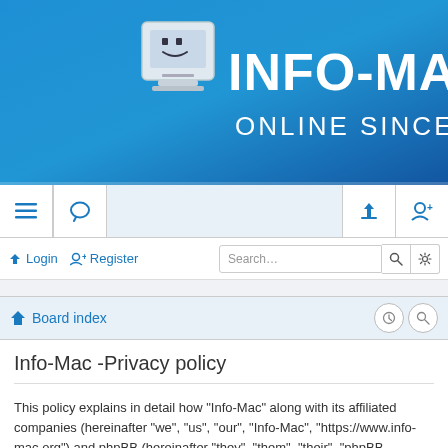[Figure (logo): Info-Mac website header banner with Mac computer logo and text 'INFO-MAC ONLINE SINCE 1984' on blue gradient background]
[Figure (screenshot): Navigation bar with hamburger menu icon, chat icon, login icon, and register icon on light blue background]
Login   Register   Search...
Board index
Info-Mac -Privacy policy
This policy explains in detail how “Info-Mac” along with its affiliated companies (hereinafter “we”, “us”, “our”, “Info-Mac”, “https://www.info-mac.org”) and phpBB (hereinafter “they”, “them”, “their”, “phpBB software”, “www.phpbb.com”, “phpBB Limited”, “phpBB Teams”) use any information collected during any session of usage by you (hereinafter “your information”).
Your information is collected via two ways. Firstly, by browsing “Info-Mac” will cause the phpBB software to create a number of cookies, which are